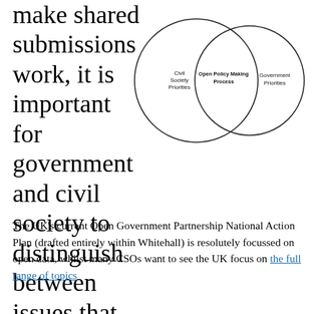make shared submissions work, it is important for government and civil society to distinguish between issues that can and can't be handled through this process.
[Figure (other): Venn diagram showing two overlapping circles. Left circle labeled 'Civil Society Priorities', right circle labeled 'Government Priorities', overlapping intersection labeled 'Open Policy Making Process'.]
The UK's current Open Government Partnership National Action Plan (drafted entirely within Whitehall) is resolutely focussed on open data, whilst many CSOs want to see the UK focus on the full range of topics